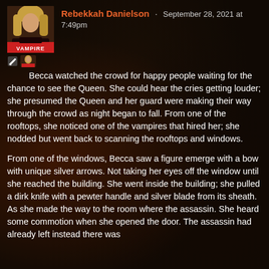Rebekkah Danielson · September 28, 2021 at 7:49pm
Becca watched the crowd for happy people waiting for the chance to see the Queen. She could hear the cries getting louder; she presumed the Queen and her guard were making their way through the crowd as night began to fall. From one of the rooftops, she noticed one of the vampires that hired her; she nodded but went back to scanning the rooftops and windows.
From one of the windows, Becca saw a figure emerge with a bow with unique silver arrows. Not taking her eyes off the window until she reached the building. She went inside the building; she pulled a dirk knife with a pewter handle and silver blade from its sheath. As she made the way to the room where the assassin. She heard some commotion when she opened the door. The assassin had already left instead there was